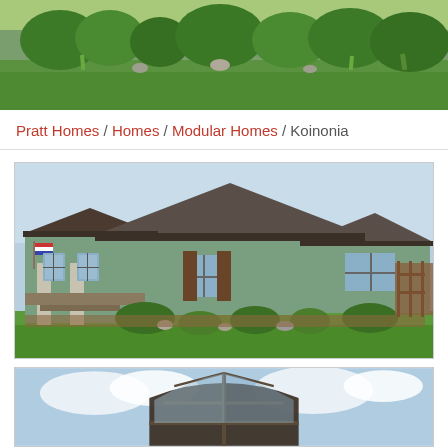[Figure (photo): Aerial landscape photo showing green lawn with shrubs, rocks, and ornamental grasses against a background of trees — header banner image]
Pratt Homes / Homes / Modular Homes / Koinonia
[Figure (photo): Exterior photo of a green modular home with dark gray roof, covered front porch with stone columns, brown shutters on windows, and landscaped front yard with shrubs and grass]
[Figure (photo): Partial view of a large arched window detail on a house, showing the upper portion with decorative window panes and blue sky background]